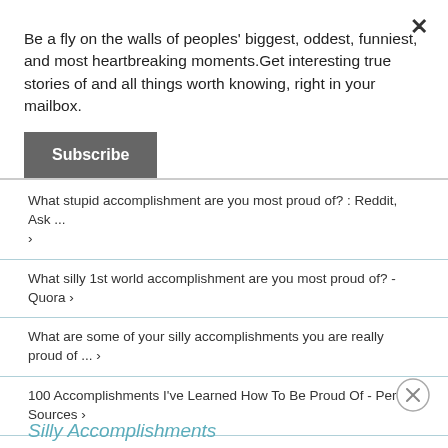Be a fly on the walls of peoples' biggest, oddest, funniest, and most heartbreaking moments.Get interesting true stories of and all things worth knowing, right in your mailbox.
Subscribe
What stupid accomplishment are you most proud of? : Reddit, Ask ... ›
What silly 1st world accomplishment are you most proud of? - Quora ›
What are some of your silly accomplishments you are really proud of ... ›
100 Accomplishments I've Learned How To Be Proud Of - Per Sources ›
Are there any achievements you are proud of that might be ... ›
Silly Accomplishments